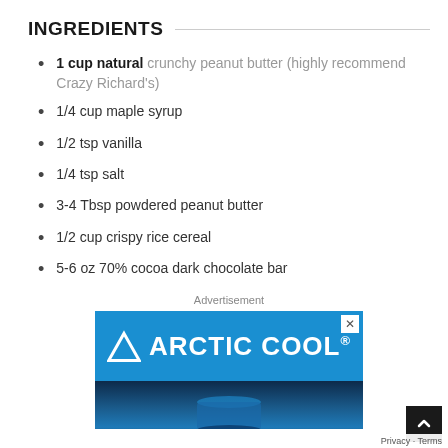INGREDIENTS
1 cup natural crunchy peanut butter (highly recommend Crazy Richard's)
1/4 cup maple syrup
1/2 tsp vanilla
1/4 tsp salt
3-4 Tbsp powdered peanut butter
1/2 cup crispy rice cereal
5-6 oz 70% cocoa dark chocolate bar
Advertisement
[Figure (other): Arctic Cool brand advertisement banner with blue background showing company logo with chevron mark and dark bottom section with blue athletic shirt]